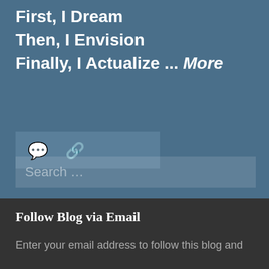First, I Dream
Then, I Envision
Finally, I Actualize ... More
[Figure (other): Icon bar with comment bubble icon and chain-link icon on a slightly lighter blue background]
Search ...
Follow Blog via Email
Enter your email address to follow this blog and